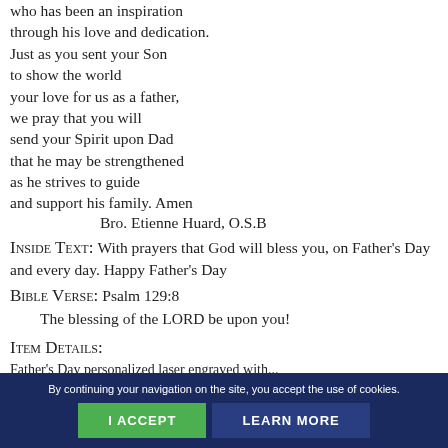who has been an inspiration
through his love and dedication.
Just as you sent your Son
to show the world
your love for us as a father,
we pray that you will
send your Spirit upon Dad
that he may be strengthened
as he strives to guide
and support his family. Amen
        Bro. Etienne Huard, O.S.B
Inside Text: With prayers that God will bless you, on Father's Day and every day. Happy Father's Day
Bible Verse: Psalm 129:8
The blessing of the LORD be upon you!
Item Details:
Father's Day personalized laser engraved with...
By continuing your navigation on the site, you accept the use of cookies.
I ACCEPT
LEARN MORE